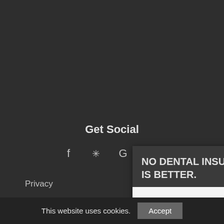Get Social
[Figure (other): Social media icons: Facebook, Yelp, Google, Twitter]
Privacy
Contact Info
Pinehurst Location
32030 Decker Prairie Rd #1
Pinehurst, TX 77362
(281) 356-3351
The Woodlands location
NO DENTAL INSURANCE? THIS IS BETTER.
Join our membership plan!
THE WOODLANDS
PINEHURST
This website uses cookies.
Accept